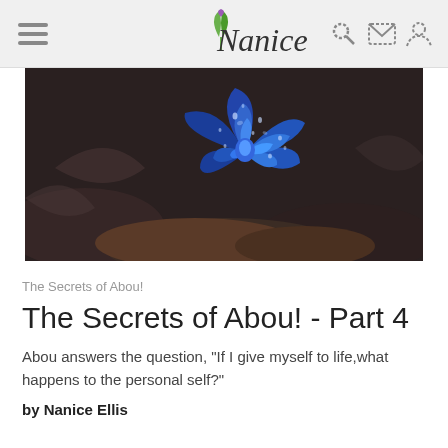Nanice
[Figure (photo): Close-up photograph of a vivid blue rose with water droplets on its petals, set against a dark blurred background of leaves and earth]
The Secrets of Abou!
The Secrets of Abou! - Part 4
Abou answers the question, "If I give myself to life,what happens to the personal self?"
by Nanice Ellis